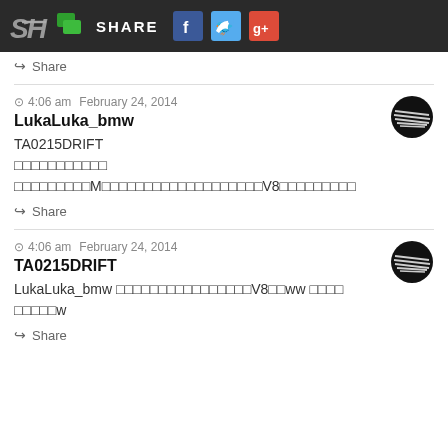SH SHARE [Facebook] [Twitter] [Google+]
Share
4:06 am  February 24, 2014
LukaLuka_bmw
TA0215DRIFT
□□□□□□□□□□□
□□□□□□□□□M□□□□□□□□□□□□□□□□□□□V8□□□□□□□□□
Share
4:06 am  February 24, 2014
TA0215DRIFT
LukaLuka_bmw □□□□□□□□□□□□□□□□V8□□ww □□□□
□□□□□w
Share